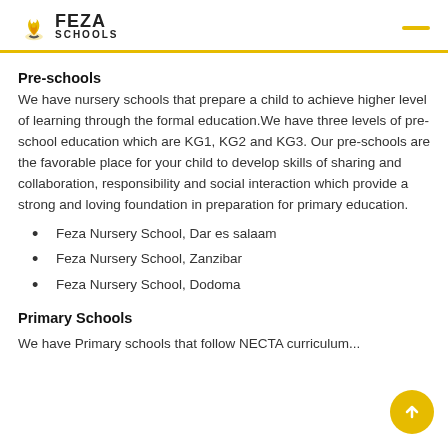FEZA SCHOOLS
Pre-schools
We have nursery schools that prepare a child to achieve higher level of learning through the formal education.We have three levels of pre-school education which are KG1, KG2 and KG3. Our pre-schools are the favorable place for your child to develop skills of sharing and collaboration, responsibility and social interaction which provide a strong and loving foundation in preparation for primary education.
Feza Nursery School, Dar es salaam
Feza Nursery School, Zanzibar
Feza Nursery School, Dodoma
Primary Schools
We have Primary schools that follow NECTA curriculum...